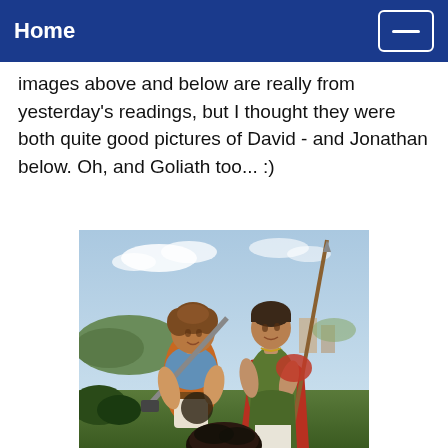Home
images above and below are really from yesterday's readings, but I thought they were both quite good pictures of David - and Jonathan below. Oh, and Goliath too... :)
[Figure (illustration): Classical painting depicting two biblical figures, identified as David and Jonathan, standing in a landscape. The younger figure (David) on the left has curly hair and carries a large sword over his shoulder, wearing an orange tunic. The figure on the right (Jonathan) holds a long spear and wears a green and red garment. The bottom of the image shows a dark head, suggesting Goliath.]